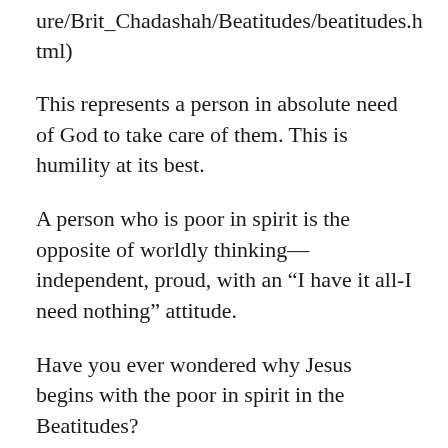ure/Brit_Chadashah/Beatitudes/beatitudes.html)
This represents a person in absolute need of God to take care of them. This is humility at its best.
A person who is poor in spirit is the opposite of worldly thinking—independent, proud, with an “I have it all-I need nothing” attitude.
Have you ever wondered why Jesus begins with the poor in spirit in the Beatitudes?